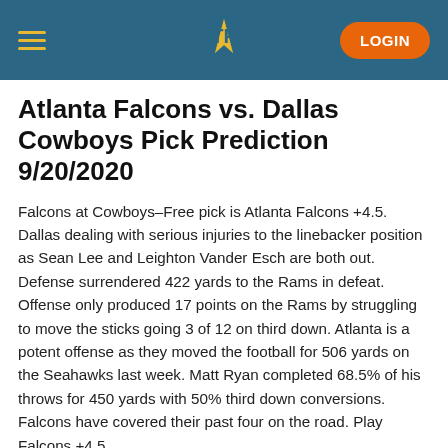TP — LOGIN
Atlanta Falcons vs. Dallas Cowboys Pick Prediction 9/20/2020
Falcons at Cowboys–Free pick is Atlanta Falcons +4.5. Dallas dealing with serious injuries to the linebacker position as Sean Lee and Leighton Vander Esch are both out. Defense surrendered 422 yards to the Rams in defeat. Offense only produced 17 points on the Rams by struggling to move the sticks going 3 of 12 on third down. Atlanta is a potent offense as they moved the football for 506 yards on the Seahawks last week. Matt Ryan completed 68.5% of his throws for 450 yards with 50% third down conversions. Falcons have covered their past four on the road. Play Falcons +4.5.